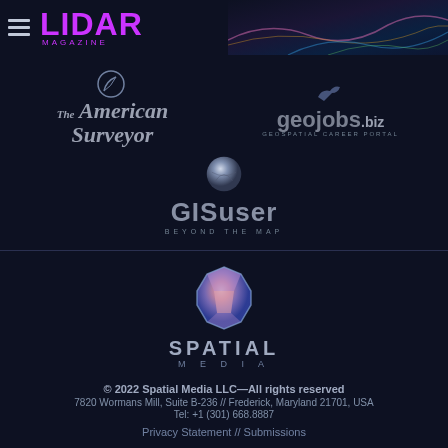[Figure (logo): LIDAR Magazine logo with hamburger menu icon and magenta LIDAR text with MAGAZINE subtitle]
[Figure (logo): The American Surveyor italic serif logo]
[Figure (logo): geojobs.biz geospatial career portal logo with bird icon]
[Figure (logo): GISuser Beyond The Map logo with sphere icon]
[Figure (logo): Spatial Media logo with faceted sphere icon, SPATIAL MEDIA text]
© 2022 Spatial Media LLC—All rights reserved
7820 Wormans Mill, Suite B-236 // Frederick, Maryland 21701, USA
Tel: +1 (301) 668.8887
Privacy Statement  //   Submissions